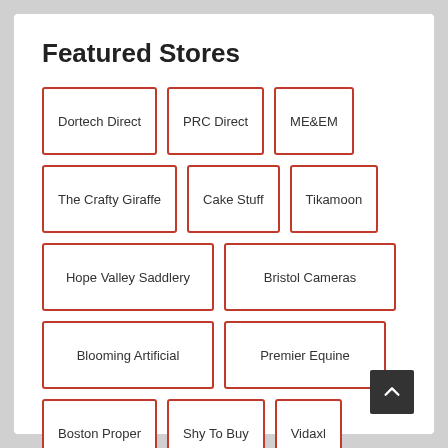Featured Stores
Dortech Direct
PRC Direct
ME&EM
The Crafty Giraffe
Cake Stuff
Tikamoon
Hope Valley Saddlery
Bristol Cameras
Blooming Artificial
Premier Equine
Boston Proper
Shy To Buy
Vidaxl
Designer Sofas 4U
Manta Sleep
Stax